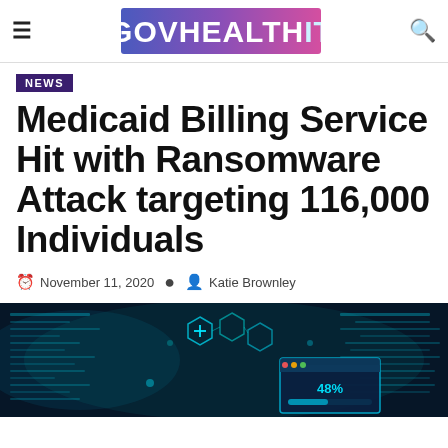GOVHEALTHIT
NEWS
Medicaid Billing Service Hit with Ransomware Attack targeting 116,000 Individuals
November 11, 2020  Katie Brownley
[Figure (photo): Cybersecurity themed image with blue teal tones showing digital code, network hexagons, and a popup window with percentage indicator showing 48%]